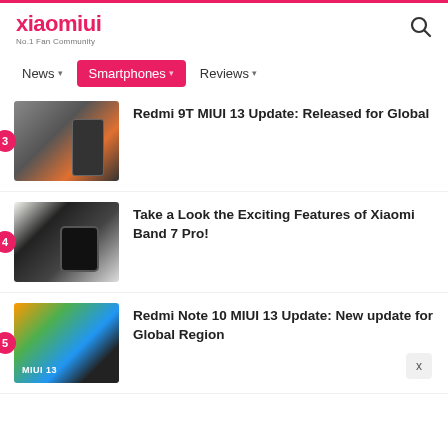xiaomiui - No.1 Fan Community
News
Smartphones
Reviews
3 Redmi 9T MIUI 13 Update: Released for Global
4 Take a Look the Exciting Features of Xiaomi Band 7 Pro!
5 Redmi Note 10 MIUI 13 Update: New update for Global Region